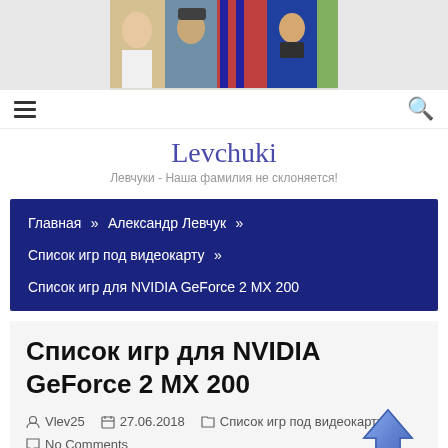[Figure (photo): Banner with multiple people photos arranged horizontally]
Levchuki — Левчуки - Наша фамилия не склоняется!
Главная » Александр Левчук » Список игр под видеокарту » Список игр для NVIDIA GeForce 2 MX 200
Список игр для NVIDIA GeForce 2 MX 200
Vlev25  27.06.2018  Список игр под видеокарту  No Comments